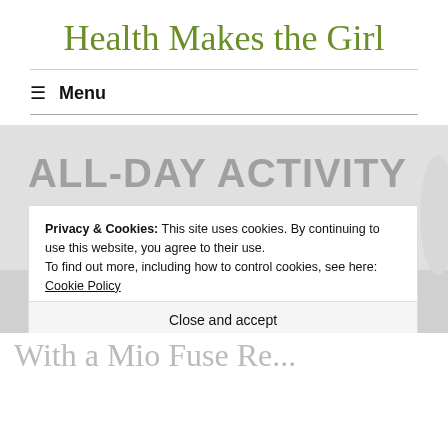Health Makes the Girl
≡  Menu
[Figure (photo): Product packaging photo showing text 'ALL-DAY ACTIVITY' and 'NO CHEST STRAP REQUIRED!' with a dark fitness tracker device in the lower portion of the image]
Privacy & Cookies: This site uses cookies. By continuing to use this website, you agree to their use.
To find out more, including how to control cookies, see here: Cookie Policy
Close and accept
With a Mio Fuse Re...